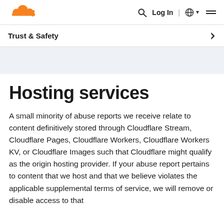[Figure (logo): Cloudflare orange cloud logo]
Log In | 🌐 ▾  ☰
Trust & Safety
Hosting services
A small minority of abuse reports we receive relate to content definitively stored through Cloudflare Stream, Cloudflare Pages, Cloudflare Workers, Cloudflare Workers KV, or Cloudflare Images such that Cloudflare might qualify as the origin hosting provider. If your abuse report pertains to content that we host and that we believe violates the applicable supplemental terms of service, we will remove or disable access to that